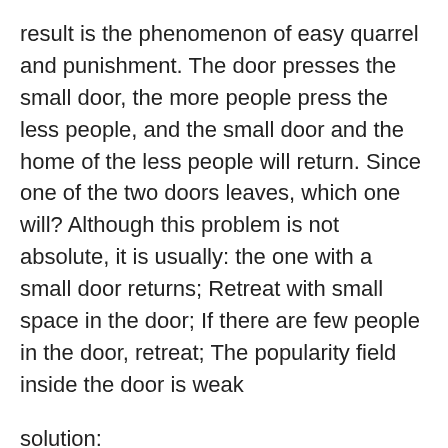result is the phenomenon of easy quarrel and punishment. The door presses the small door, the more people press the less people, and the small door and the home of the less people will return. Since one of the two doors leaves, which one will? Although this problem is not absolute, it is usually: the one with a small door returns; Retreat with small space in the door; If there are few people in the door, retreat; The popularity field inside the door is weak
solution:
hang heavenly official blessings outside the door. If the two families reach an agreement, it is best to hang one respectively
a six character mantra Seven Star array is placed in